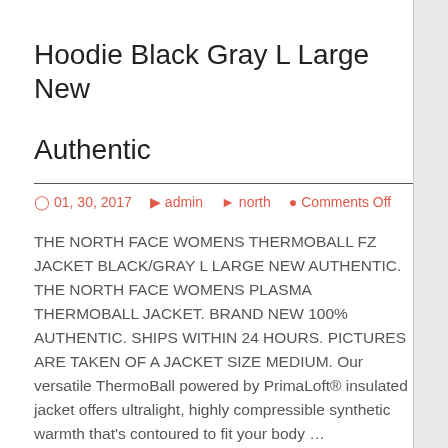Hoodie Black Gray L Large New Authentic
01, 30, 2017  admin  north  Comments Off
THE NORTH FACE WOMENS THERMOBALL FZ JACKET BLACK/GRAY L LARGE NEW AUTHENTIC. THE NORTH FACE WOMENS PLASMA THERMOBALL JACKET. BRAND NEW 100% AUTHENTIC. SHIPS WITHIN 24 HOURS. PICTURES ARE TAKEN OF A JACKET SIZE MEDIUM. Our versatile ThermoBall powered by PrimaLoft® insulated jacket offers ultralight, highly compressible synthetic warmth that’s contoured to fit your body …